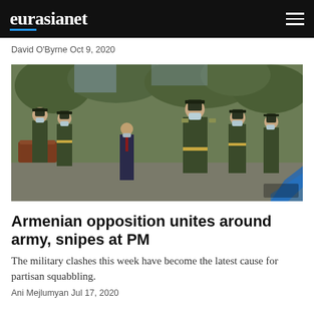eurasianet
David O'Byrne Oct 9, 2020
[Figure (photo): Military officers in dress uniforms wearing face masks, walking in a funeral procession with coffins visible, trees in background.]
Armenian opposition unites around army, snipes at PM
The military clashes this week have become the latest cause for partisan squabbling.
Ani Mejlumyan Jul 17, 2020